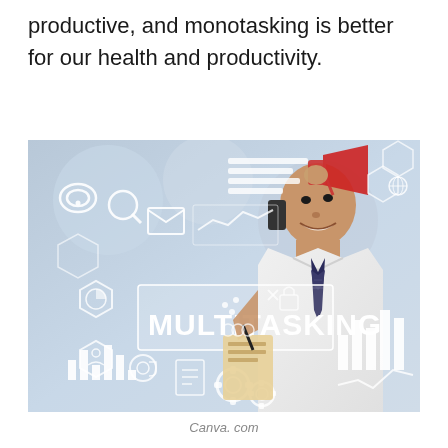productive, and monotasking is better for our health and productivity.
[Figure (photo): A businessperson on a phone call, pointing at a virtual interface showing the word MULTITASKING surrounded by business and communication icons including charts, gears, email, and wi-fi symbols.]
Canva. com